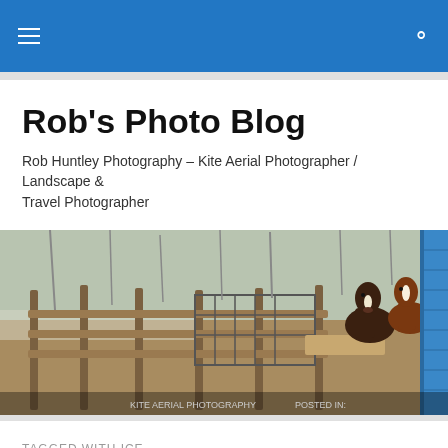Rob's Photo Blog — navigation bar with hamburger menu and search icon
Rob's Photo Blog
Rob Huntley Photography – Kite Aerial Photographer / Landscape & Travel Photographer
[Figure (photo): Outdoor farm scene with wooden fence rails in the foreground and two horses peering over a wooden trough/fence in the right center. Blue building visible on the far right edge. Bare trees in the background, overcast winter conditions with patches of snow on the ground.]
TAGGED WITH ICE
KAP 2015-8 – Montreal River, Ontario